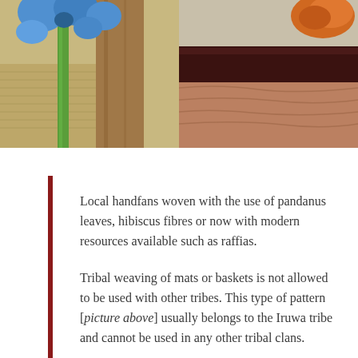[Figure (photo): Left photo showing a blue flower and green stem against a wooden background with woven textile visible. Right photo showing an orange element against dark brown and reddish-brown textile/fabric background.]
Local handfans woven with the use of pandanus leaves, hibiscus fibres or now with modern resources available such as raffias.
Tribal weaving of mats or baskets is not allowed to be used with other tribes. This type of pattern [picture above] usually belongs to the Iruwa tribe and cannot be used in any other tribal clans.
You might think Nauru should not be